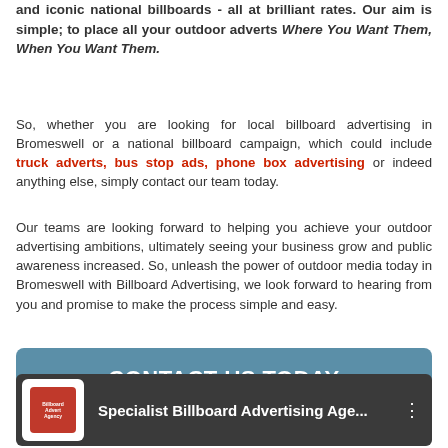and iconic national billboards - all at brilliant rates. Our aim is simple; to place all your outdoor adverts Where You Want Them, When You Want Them.
So, whether you are looking for local billboard advertising in Bromeswell or a national billboard campaign, which could include truck adverts, bus stop ads, phone box advertising or indeed anything else, simply contact our team today.
Our teams are looking forward to helping you achieve your outdoor advertising ambitions, ultimately seeing your business grow and public awareness increased. So, unleash the power of outdoor media today in Bromeswell with Billboard Advertising, we look forward to hearing from you and promise to make the process simple and easy.
[Figure (other): Blue button with white bold text reading CONTACT US TODAY]
[Figure (other): Video thumbnail with dark background showing a logo on the left and text Specialist Billboard Advertising Age... with three dots icon on the right]